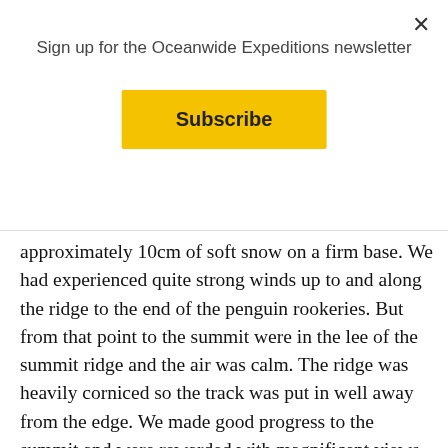Sign up for the Oceanwide Expeditions newsletter
Subscribe
approximately 10cm of soft snow on a firm base. We had experienced quite strong winds up to and along the ridge to the end of the penguin rookeries. But from that point to the summit were in the lee of the summit ridge and the air was calm. The ridge was heavily corniced so the track was put in well away from the edge. We made good progress to the summit and were rewarded with magnificent views in all directions. The ascent took around 1 hour 15 minutes including some photography on the way up and the change over from snowshoes to crampons. We descended back to the penguin rookeries and took advantage of the photo opportunities that the position gave us. From here we descended in